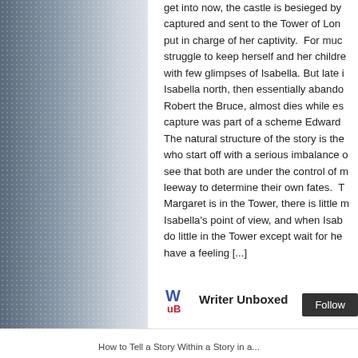[Figure (photo): Dark atmospheric background image on the left side of the page, showing a muted blue-grey landscape or castle scene with a dotted/stippled overlay pattern.]
get into now, the castle is besieged by captured and sent to the Tower of Lon put in charge of her captivity. For muc struggle to keep herself and her childre with few glimpses of Isabella. But late Isabella north, then essentially abando Robert the Bruce, almost dies while es capture was part of a scheme Edward The natural structure of the story is the who start off with a serious imbalance see that both are under the control of m leeway to determine their own fates. T Margaret is in the Tower, there is little m Isabella's point of view, and when Isab do little in the Tower except wait for he have a feeling [...]
[Figure (logo): Writer Unboxed logo: stylized W and B letters in blue and red, with the text 'Writer Unboxed' in bold next to it.]
How to Tell a Story Within a Story in a...